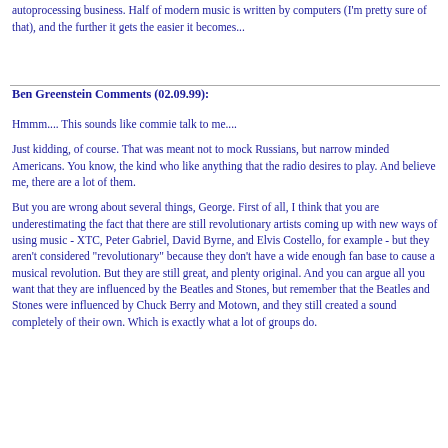autoprocessing business. Half of modern music is written by computers (I'm pretty sure of that), and the further it gets the easier it becomes...
Ben Greenstein Comments (02.09.99):
Hmmm.... This sounds like commie talk to me....
Just kidding, of course. That was meant not to mock Russians, but narrow minded Americans. You know, the kind who like anything that the radio desires to play. And believe me, there are a lot of them.
But you are wrong about several things, George. First of all, I think that you are underestimating the fact that there are still revolutionary artists coming up with new ways of using music - XTC, Peter Gabriel, David Byrne, and Elvis Costello, for example - but they aren't considered "revolutionary" because they don't have a wide enough fan base to cause a musical revolution. But they are still great, and plenty original. And you can argue all you want that they are influenced by the Beatles and Stones, but remember that the Beatles and Stones were influenced by Chuck Berry and Motown, and they still created a sound completely of their own. Which is exactly what a lot of groups do.